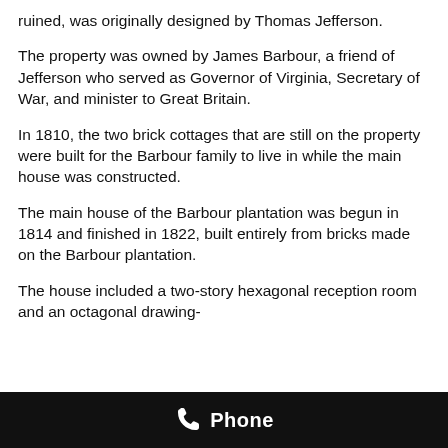ruined, was originally designed by Thomas Jefferson.
The property was owned by James Barbour, a friend of Jefferson who served as Governor of Virginia, Secretary of War, and minister to Great Britain.
In 1810, the two brick cottages that are still on the property were built for the Barbour family to live in while the main house was constructed.
The main house of the Barbour plantation was begun in 1814 and finished in 1822, built entirely from bricks made on the Barbour plantation.
The house included a two-story hexagonal reception room and an octagonal drawing-
Phone